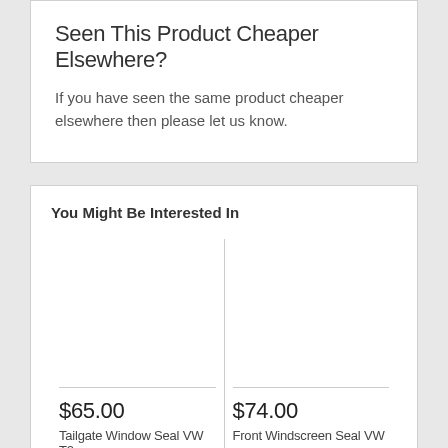Seen This Product Cheaper Elsewhere?
If you have seen the same product cheaper elsewhere then please let us know.
You Might Be Interested In
$65.00
Tailgate Window Seal VW T2
$74.00
Front Windscreen Seal VW